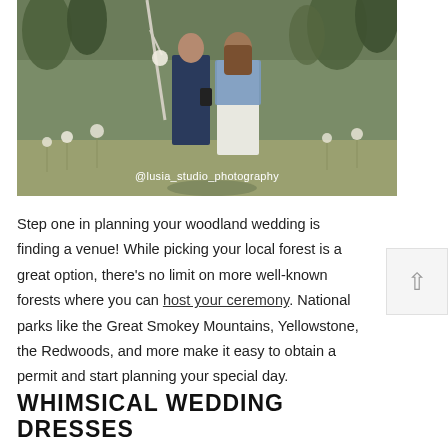[Figure (photo): A couple standing in a woodland meadow with wildflowers. The man wears a navy suit and the woman wears a white dress with a denim jacket. Photo credit: @lusia_studio_photography]
Step one in planning your woodland wedding is finding a venue! While picking your local forest is a great option, there's no limit on more well-known forests where you can host your ceremony. National parks like the Great Smokey Mountains, Yellowstone, the Redwoods, and more make it easy to obtain a permit and start planning your special day.
WHIMSICAL WEDDING DRESSES